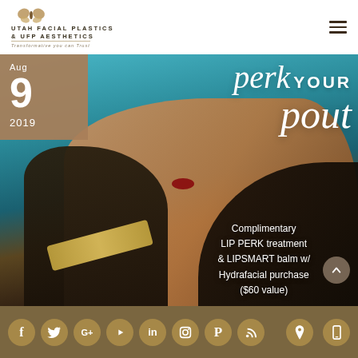[Figure (logo): Utah Facial Plastics & UFP Aesthetics butterfly logo with text and tagline]
[Figure (photo): Woman with red lips lying back poolside, with overlay text 'perk YOUR pout' and date badge Aug 9 2019 and promotional text about Complimentary LIP PERK treatment & LIPSMART balm with Hydrafacial purchase ($60 value)]
Social media icons: Facebook, Twitter, Google+, YouTube, LinkedIn, Instagram, Pinterest, RSS. Location and mobile icons on right.